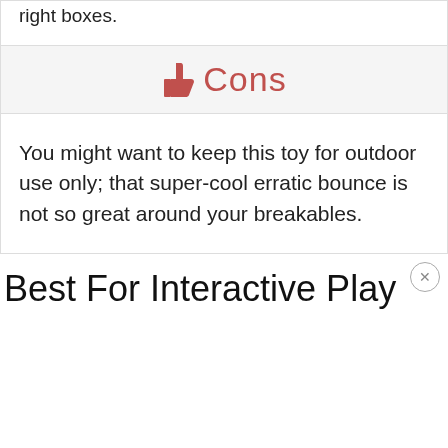right boxes.
👎 Cons
You might want to keep this toy for outdoor use only; that super-cool erratic bounce is not so great around your breakables.
Best For Interactive Play